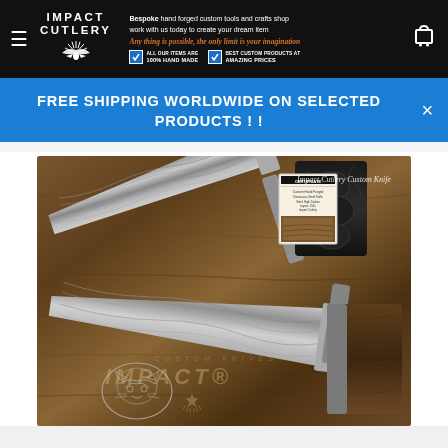IMPACT CUTLERY — Bespoke hand forged custom tools and crafts shop. work with us today to create your dream item. Any thing is possible, the only limit is your imagination. 100% HAND MADE. AMAZING PRICES.
FREE SHIPPING WORLDWIDE ON SELECTED PRODUCTS ! !
[Figure (photo): Close-up photo of two custom Impact Cutlery Damascus steel knives with carved handles on a wooden surface. Text watermark reads 'Impact Cutlery Custom Knife' and 'CUSTOM KNIVES IMPACT' logo.]